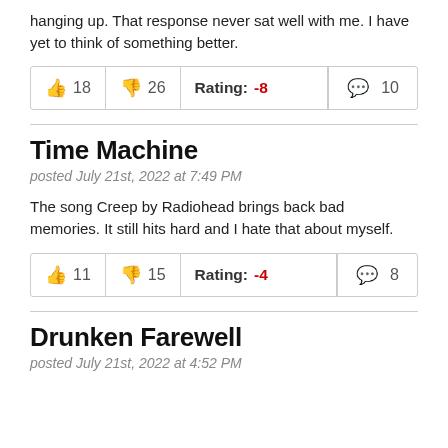hanging up. That response never sat well with me. I have yet to think of something better.
| 👍 18 | 👎 26 | Rating: -8 | 💬 10 |
| --- | --- | --- | --- |
Time Machine
posted July 21st, 2022 at 7:49 PM
The song Creep by Radiohead brings back bad memories. It still hits hard and I hate that about myself.
| 👍 11 | 👎 15 | Rating: -4 | 💬 8 |
| --- | --- | --- | --- |
Drunken Farewell
posted July 21st, 2022 at 4:52 PM